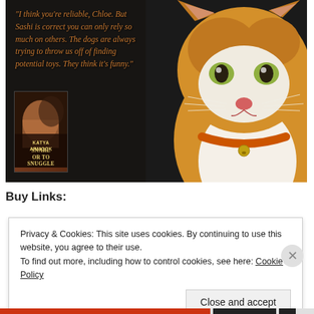[Figure (photo): Promotional image combining a close-up photo of an orange and white tabby cat with an orange collar, overlaid on a dark background with an italic quote in orange text and a book cover thumbnail for 'Snarl or Snuggle' by Katya Armock]
Buy Links:
Privacy & Cookies: This site uses cookies. By continuing to use this website, you agree to their use.
To find out more, including how to control cookies, see here: Cookie Policy
Close and accept